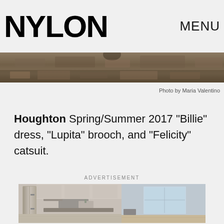NYLON   MENU
[Figure (photo): Stone/brick textured background image visible at top of page]
Photo by Maria Valentino
Houghton Spring/Summer 2017 "Billie" dress, "Lupita" brooch, and "Felicity" catsuit.
ADVERTISEMENT
[Figure (photo): Advertisement showing a modern apartment kitchen with stainless steel appliances and an adjacent living area with large windows]